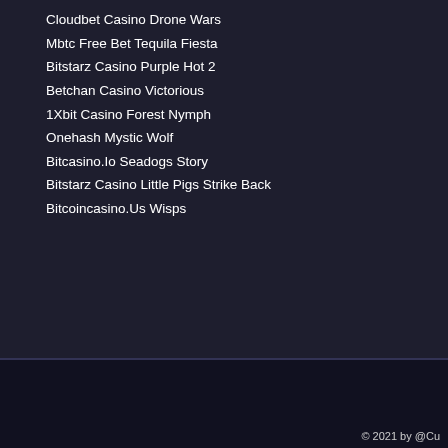Cloudbet Casino Drone Wars
Mbtc Free Bet Tequila Fiesta
Bitstarz Casino Purple Hot 2
Betchan Casino Victorious
1Xbit Casino Forest Nymph
Onehash Mystic Wolf
Bitcasino.Io Seadogs Story
Bitstarz Casino Little Pigs Strike Back
Bitcoincasino.Us Wisps
Bitstarz Casino Bonus Senza Deposito Codes 2021
Битстарз Казино Casinokoru
Askgamblers Bitstarz
Spin Bitcoin Casino Withdrawal Review
© 2021 by @Cu